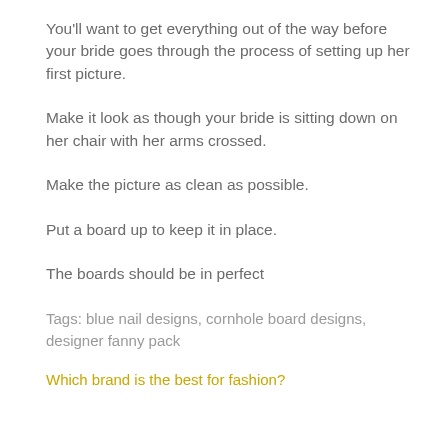You'll want to get everything out of the way before your bride goes through the process of setting up her first picture.
Make it look as though your bride is sitting down on her chair with her arms crossed.
Make the picture as clean as possible.
Put a board up to keep it in place.
The boards should be in perfect
Tags: blue nail designs, cornhole board designs, designer fanny pack
Which brand is the best for fashion?